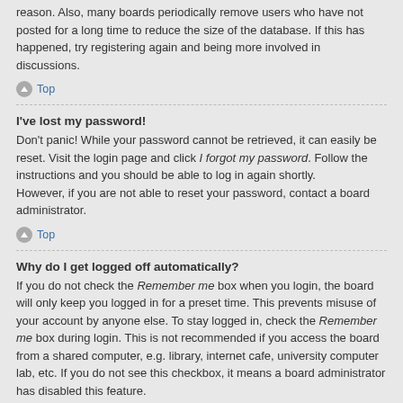reason. Also, many boards periodically remove users who have not posted for a long time to reduce the size of the database. If this has happened, try registering again and being more involved in discussions.
Top
I've lost my password!
Don't panic! While your password cannot be retrieved, it can easily be reset. Visit the login page and click I forgot my password. Follow the instructions and you should be able to log in again shortly.
However, if you are not able to reset your password, contact a board administrator.
Top
Why do I get logged off automatically?
If you do not check the Remember me box when you login, the board will only keep you logged in for a preset time. This prevents misuse of your account by anyone else. To stay logged in, check the Remember me box during login. This is not recommended if you access the board from a shared computer, e.g. library, internet cafe, university computer lab, etc. If you do not see this checkbox, it means a board administrator has disabled this feature.
Top
What does the “Delete cookies” do?